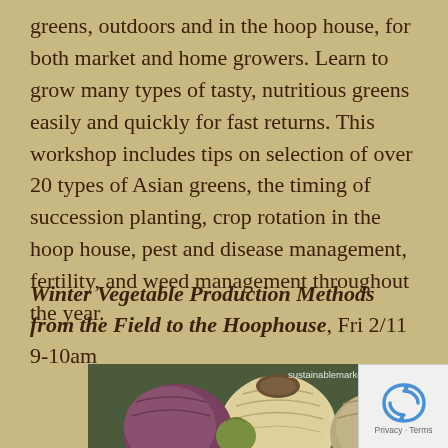greens, outdoors and in the hoop house, for both market and home growers. Learn to grow many types of tasty, nutritious greens easily and quickly for fast returns. This workshop includes tips on selection of over 20 types of Asian greens, the timing of succession planting, crop rotation in the hoop house, pest and disease management, fertility, and weed management throughout the year.
Winter Vegetable Production Methods from the Field to the Hoophouse, Fri 2/11 9–10am
[Figure (photo): Close-up photo of various root vegetables (turnips, onions, garlic bulbs) with a watermark reading 'sustainablemarketfarmi...' visible in the top right corner. A reCAPTCHA privacy badge appears in the bottom right corner.]